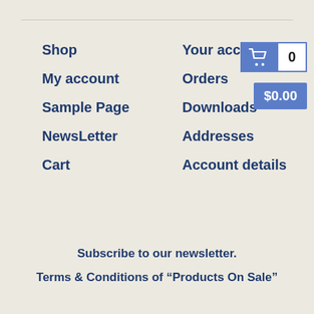Shop
Your account
My account
Orders
Sample Page
Downloads
NewsLetter
Addresses
Cart
Account details
Subscribe to our newsletter.
Terms & Conditions of “Products On Sale”